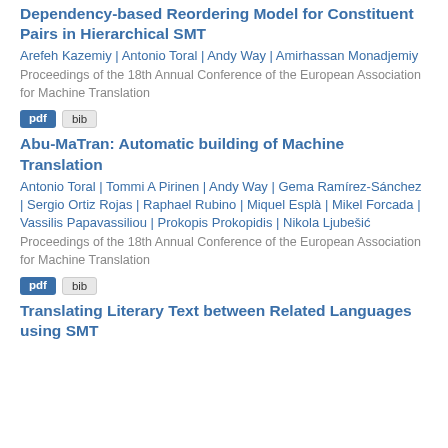Dependency-based Reordering Model for Constituent Pairs in Hierarchical SMT
Arefeh Kazemiy | Antonio Toral | Andy Way | Amirhassan Monadjemiy
Proceedings of the 18th Annual Conference of the European Association for Machine Translation
pdf  bib
Abu-MaTran: Automatic building of Machine Translation
Antonio Toral | Tommi A Pirinen | Andy Way | Gema Ramírez-Sánchez | Sergio Ortiz Rojas | Raphael Rubino | Miquel Esplà | Mikel Forcada | Vassilis Papavassiliou | Prokopis Prokopidis | Nikola Ljubešić
Proceedings of the 18th Annual Conference of the European Association for Machine Translation
pdf  bib
Translating Literary Text between Related Languages using SMT